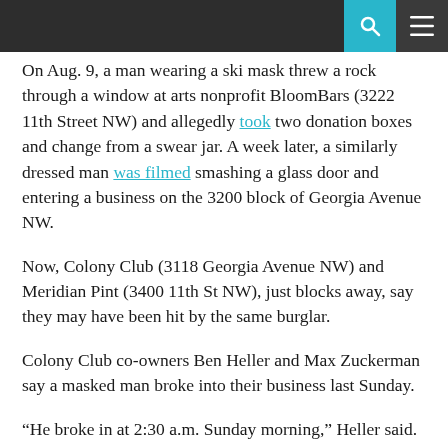[navigation bar with search and menu icons]
On Aug. 9, a man wearing a ski mask threw a rock through a window at arts nonprofit BloomBars (3222 11th Street NW) and allegedly took two donation boxes and change from a swear jar. A week later, a similarly dressed man was filmed smashing a glass door and entering a business on the 3200 block of Georgia Avenue NW.
Now, Colony Club (3118 Georgia Avenue NW) and Meridian Pint (3400 11th St NW), just blocks away, say they may have been hit by the same burglar.
Colony Club co-owners Ben Heller and Max Zuckerman say a masked man broke into their business last Sunday.
“He broke in at 2:30 a.m. Sunday morning,” Heller said. “He used some sort of mallet type hammer to break through our back door, which is a glass door.”